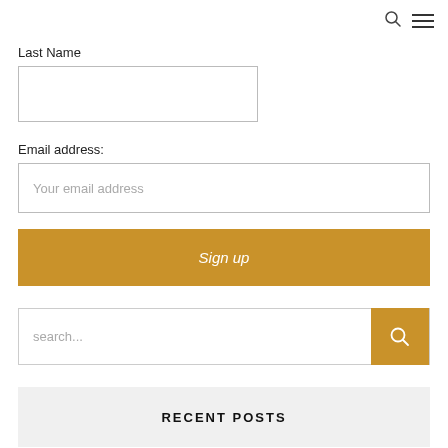Last Name
Email address:
Your email address
Sign up
search...
RECENT POSTS
Chatting with Julia Bouthoorn